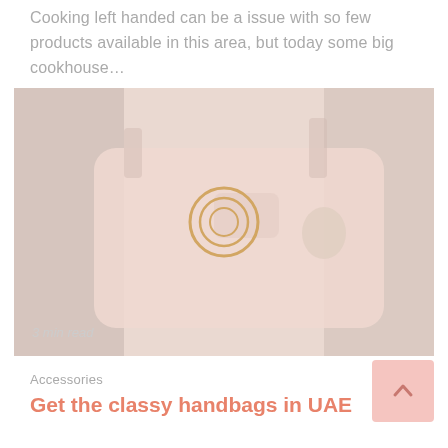Cooking left handed can be a issue with so few products available in this area, but today some big cookhouse…
[Figure (photo): A faded/washed-out product photo of a pink handbag with a gold circular logo emblem in the center, against a dark background. A '3 min read' label appears at the bottom left.]
3 min read
Accessories
Get the classy handbags in UAE